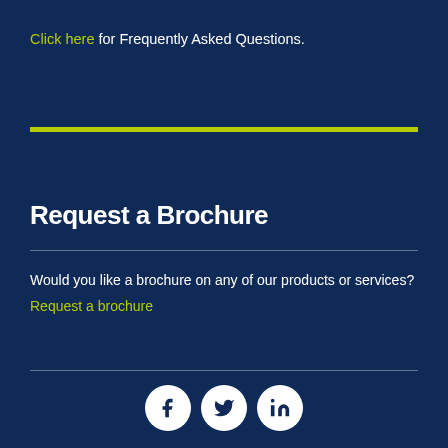Click here for Frequently Asked Questions.
Request a Brochure
Would you like a brochure on any of our products or services?
Request a brochure